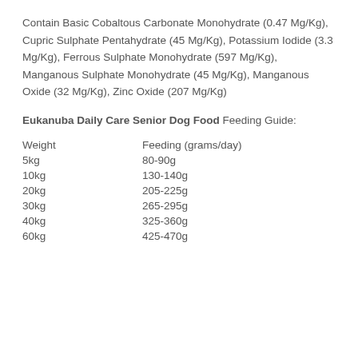Contain Basic Cobaltous Carbonate Monohydrate (0.47 Mg/Kg), Cupric Sulphate Pentahydrate (45 Mg/Kg), Potassium Iodide (3.3 Mg/Kg), Ferrous Sulphate Monohydrate (597 Mg/Kg), Manganous Sulphate Monohydrate (45 Mg/Kg), Manganous Oxide (32 Mg/Kg), Zinc Oxide (207 Mg/Kg)
Eukanuba Daily Care Senior Dog Food Feeding Guide:
| Weight | Feeding (grams/day) |
| --- | --- |
| 5kg | 80-90g |
| 10kg | 130-140g |
| 20kg | 205-225g |
| 30kg | 265-295g |
| 40kg | 325-360g |
| 60kg | 425-470g |